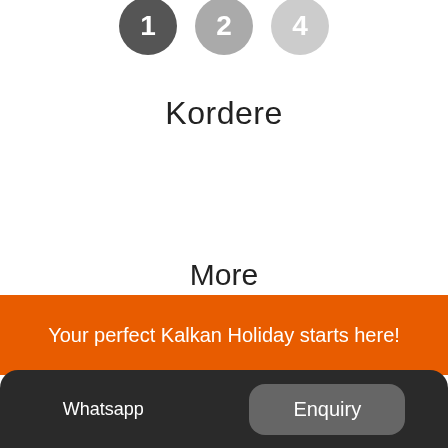[Figure (infographic): Three step indicator circles: first circle dark grey with '1', second circle medium grey with '2', third circle light grey with '4']
Kordere
More
Your perfect Kalkan Holiday starts here!
Would you like to get support from our sales
Whatsapp   Enquiry